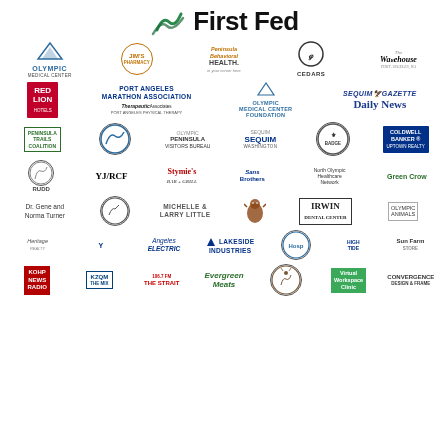[Figure (logo): First Fed bank logo with green wave icon and bold 'First Fed' text]
[Figure (infographic): Sponsor logo grid showing multiple rows of sponsor logos including: Olympic Medical Center, Jim's Pharmacy, Peninsula Behavioral Health, Cedars, The Warehouse; Red Lion Hotels, Port Angeles Marathon Association, Therapeutic Associates, Olympic Medical Center Foundation, Sequim Gazette, Daily News; Peninsula Trails Coalition, Olympic Peninsula Visitors Bureau, Olympic Peninsula Business Alliance, Sequim Washington, circle badge, Coldwell Banker Uptown Realty; Rudd, YJ/RCF, Stymie's Bar & Grill, Sans Brothers, North Olympic Healthcare Network, Green Crow; Dr. Gene and Norma Turner, fishing logo, Michelle & Larry Little, Sasquatch logo, Irwin Dental Center, Olympic Animals; Heritage, YMCA, Angeles Electric, Lakeside Industries, Olympic Hospital, High Tide, Sun Farm; KOHP News Radio, KZQM, 106.7 The Strait, Evergreen Meats, Deer logo, Virtual Workspace Clinic, Convergence Design & Frame]